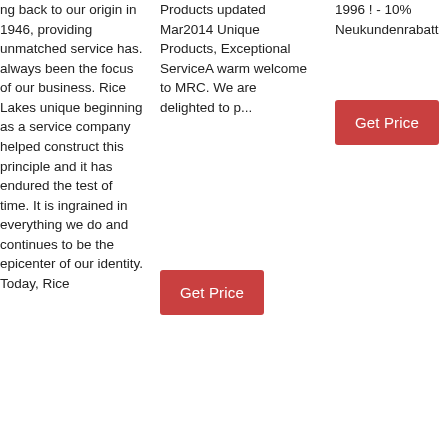ng back to our origin in 1946, providing unmatched service has. always been the focus of our business. Rice Lakes unique beginning as a service company helped construct this principle and it has endured the test of time. It is ingrained in everything we do and continues to be the epicenter of our identity. Today, Rice
Products updated Mar2014 Unique Products, Exceptional ServiceA warm welcome to MRC. We are delighted to p...
1996 ! - 10% Neukundenrabatt
[Figure (other): Get Price button (red/salmon background, white text) in column 3]
[Figure (other): Get Price button (red/salmon background, white text) in column 2]